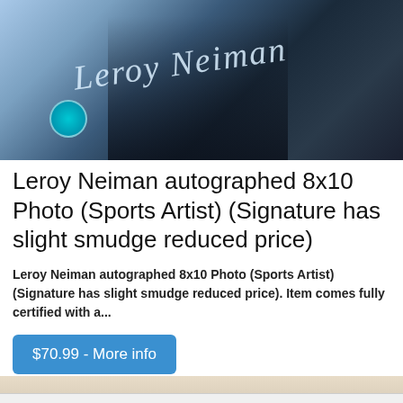[Figure (photo): Autographed 8x10 photo of Leroy Neiman showing a blurred sports scene with a cursive signature 'Leroy Neiman' across the photo and a blue authentication seal in the lower left]
Leroy Neiman autographed 8x10 Photo (Sports Artist) (Signature has slight smudge reduced price)
Leroy Neiman autographed 8x10 Photo (Sports Artist) (Signature has slight smudge reduced price). Item comes fully certified with a...
$70.99 - More info